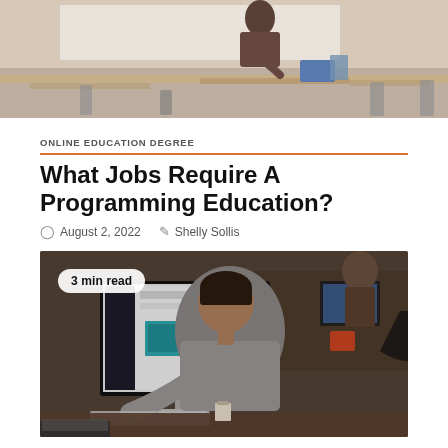[Figure (photo): Classroom photo showing a person at a desk writing, viewed from behind, with chairs and tables in background]
ONLINE EDUCATION DEGREE
What Jobs Require A Programming Education?
August 2, 2022   Shelly Sollis
[Figure (photo): Office photo showing a man from behind working at an iMac computer, with other people working at desks in background. Badge reads '3 min read']